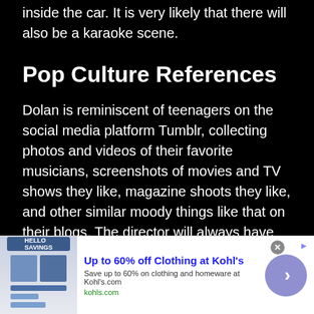bird's-eye shot of a car on the road or scenes shot from inside the car. It is very likely that there will also be a karaoke scene.
Pop Culture References
Dolan is reminiscent of teenagers on the social media platform Tumblr, collecting photos and videos of their favorite musicians, screenshots of movies and TV shows they like, magazine shoots they like, and other similar moody things like that on their blogs. The director will always have references to his favorite movies, figures, musicians and actors. Dolan's entire visual style resembles the typical visuals of a Tumblr blog, and this is partly the secret of the director's success – it is the
[Figure (screenshot): Advertisement banner for Kohl's: 'Up to 60% off Clothing at Kohl's', with product image, description 'Save up to 60% on clothing and homeware at Kohl's.com', URL 'kohls.com', close button, and arrow button.]